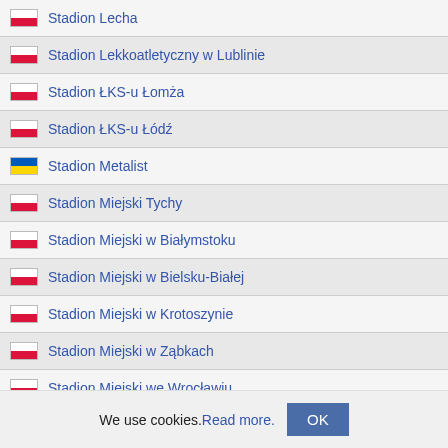Stadion Lecha
Stadion Lekkoatletyczny w Lublinie
Stadion ŁKS-u Łomża
Stadion ŁKS-u Łódź
Stadion Metalist
Stadion Miejski Tychy
Stadion Miejski w Białymstoku
Stadion Miejski w Bielsku-Białej
Stadion Miejski w Krotoszynie
Stadion Miejski w Ząbkach
Stadion Miejski we Wrocławiu
Stadion MOSiR Puławy
Stadion Narodowy
Stadion Nizhny Novgorod
Stadion Olimpijski
Stadion Olimpijski we Wrocławiu
We use cookies. Read more. OK